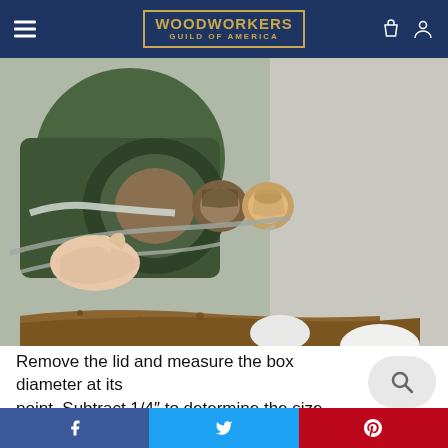Woodworkers Guild of America
[Figure (photo): Close-up photo of a wood lathe with a small wooden box/cup mounted in a chuck. A person's hand is holding a tool near the piece. The lathe is green and aged. Wood shavings are visible at the base.]
Remove the lid and measure the box diameter at its point. Subtract 1/4″ to determine the size bit to use for drilling
f  t  p